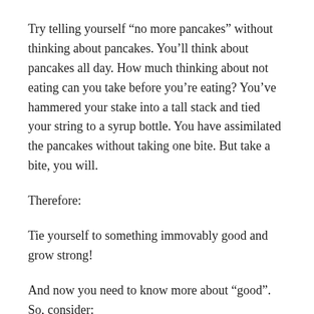Try telling yourself “no more pancakes” without thinking about pancakes. You’ll think about pancakes all day. How much thinking about not eating can you take before you’re eating? You’ve hammered your stake into a tall stack and tied your string to a syrup bottle. You have assimilated the pancakes without taking one bite. But take a bite, you will.
Therefore:
Tie yourself to something immovably good and grow strong!
And now you need to know more about “good”. So, consider:
Finally, brethren, whatsoever things are true,